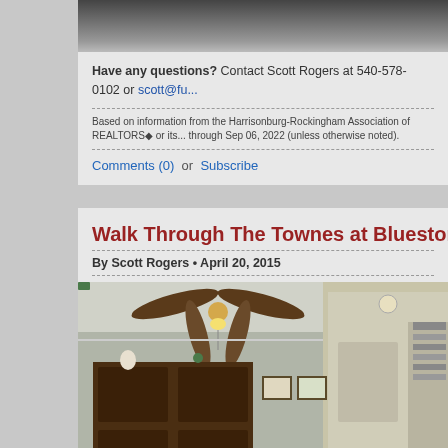[Figure (screenshot): Top portion of a gray rounded card with a dark gradient image at the top (partially visible)]
Have any questions? Contact Scott Rogers at 540-578-0102 or scott@fu...
Based on information from the Harrisonburg-Rockingham Association of REALTORS® or its... through Sep 06, 2022 (unless otherwise noted).
Comments (0)  or  Subscribe
Walk Through The Townes at Bluestone M...
By Scott Rogers • April 20, 2015
[Figure (photo): Interior photo of a townhouse showing a living room with a ceiling fan, wooden armoire/cabinet, and a hallway view to the right showing kitchen/corridor area with ceiling lights.]